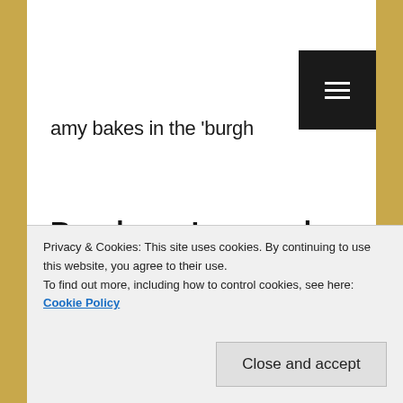amy bakes in the 'burgh
Raspberry Lemonade Cupcakes
[Figure (photo): Photo of a raspberry lemonade bottle/can with a yellow Lemonade sign in the background on a green wall]
A few days ago Mike brought home a raspberry lemonade for me and I thought, hmm...this would make a great cupcake.
Privacy & Cookies: This site uses cookies. By continuing to use this website, you agree to their use.
To find out more, including how to control cookies, see here: Cookie Policy
Close and accept